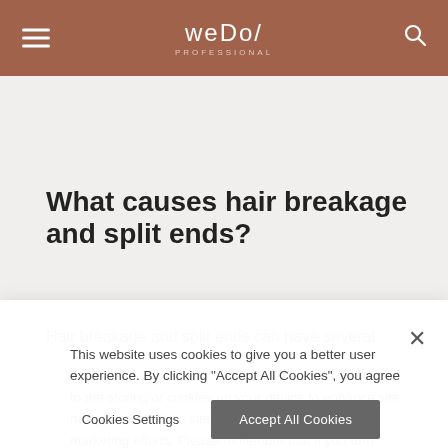weDo/ Professional
[Figure (photo): Partial hero image of a person with turquoise background]
What causes hair breakage and split ends?
Hair breakage and split ends can have several
This website uses cookies to give you a better user experience. By clicking "Accept All Cookies", you agree to the storing of cookies on your device to enhance site navigation, analyze site usage, and assist in our marketing efforts. Please remember that if you turn cookies off, certain features of this website may not be available to you. Find out more about how we use cookies. https://www.wellacompany.com/cookie-policy
Cookies Settings
Accept All Cookies